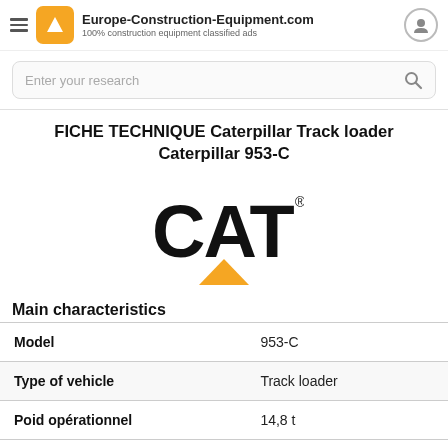Europe-Construction-Equipment.com
100% construction equipment classified ads
FICHE TECHNIQUE Caterpillar Track loader Caterpillar 953-C
[Figure (logo): CAT (Caterpillar) logo with yellow triangle and black bold text]
Main characteristics
| Model | 953-C |
| Type of vehicle | Track loader |
| Poid opérationnel | 14,8 t |